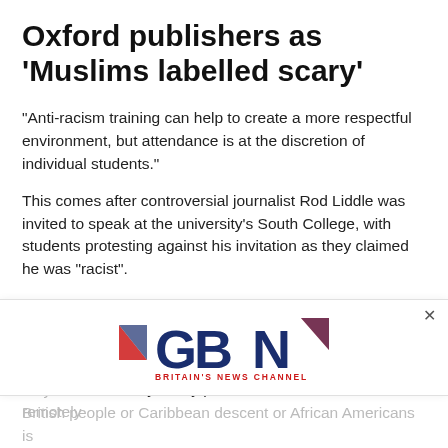Oxford publishers as 'Muslims labelled scary'
“Anti-racism training can help to create a more respectful environment, but attendance is at the discretion of individual students.”
This comes after controversial journalist Rod Liddle was invited to speak at the university’s South College, with students protesting against his invitation as they claimed he was “racist”.
While some walked out midway through Mr Liddle’s speech, others failed to stand at the end.
Among the remarks made during Mr Liddle’s speech included: “It is fairly easily proven that colonialism is not remotely… it is very eas…ment of British people or Caribbean descent or African Americans is
[Figure (logo): GB News - Britain's News Channel logo advertisement overlay]